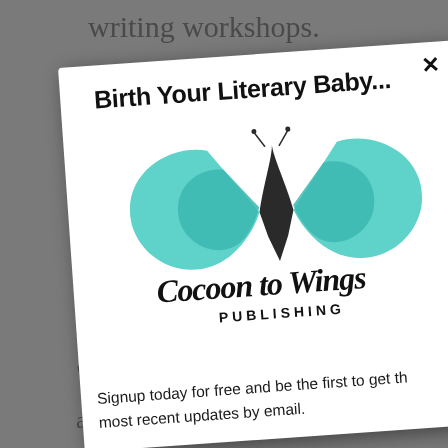writing workshops.
[Figure (screenshot): A modal popup dialog for 'Cocoon to Wings Publishing' showing the title 'Birth Your Literary Baby...', a teal butterfly/book logo with cursive text 'Cocoon to Wings Publishing', and signup text 'Signup today for free and be the first to get the most recent updates by email.' with an X close button in the top right corner.]
Signup today for free and be the first to get the most recent updates by email.